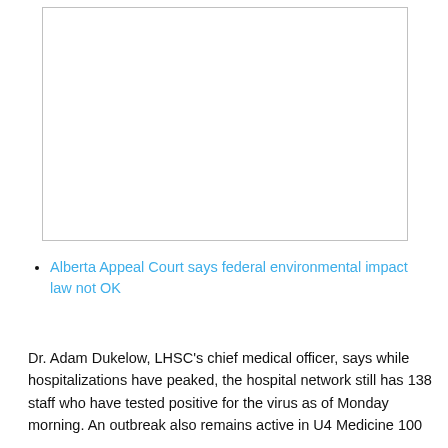[Figure (other): Blank white image placeholder with light gray border]
Alberta Appeal Court says federal environmental impact law not OK
Dr. Adam Dukelow, LHSC's chief medical officer, says while hospitalizations have peaked, the hospital network still has 138 staff who have tested positive for the virus as of Monday morning. An outbreak also remains active in U4 Medicine 100